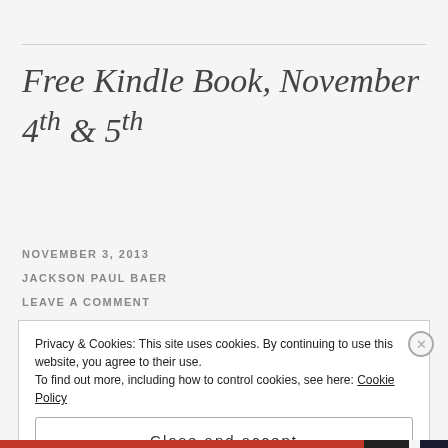Free Kindle Book, November 4th & 5th
NOVEMBER 3, 2013
JACKSON PAUL BAER
LEAVE A COMMENT
Privacy & Cookies: This site uses cookies. By continuing to use this website, you agree to their use. To find out more, including how to control cookies, see here: Cookie Policy
Close and accept